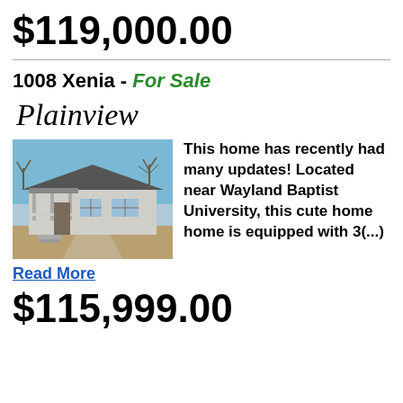$119,000.00
1008 Xenia - For Sale
Plainview
[Figure (photo): Exterior photo of a small single-story ranch-style home with a front porch, white siding, and bare trees in the background under a blue sky.]
This home has recently had many updates! Located near Wayland Baptist University, this cute home home is equipped with 3(...)
Read More
$115,999.00